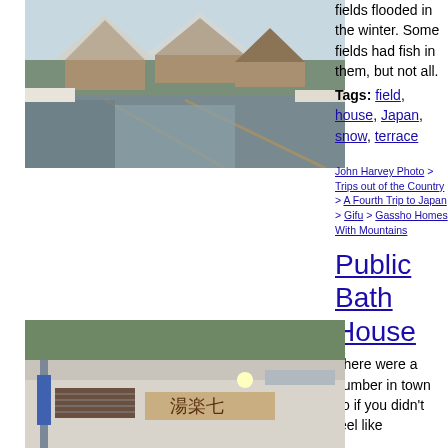[Figure (photo): Winter scene of Japanese gassho-zukuri farmhouses with snow-covered roofs and flooded terrace fields in the foreground]
fields flooded in the winter. Some fields had fish in them, but not all.
Tags: field, house, Japan, snow, terrace
John Harvey Photo > Trips out of the Country > A Fourth Trip to Japan > Gifu > Gassho Homes With Mountains
Public Bath House
There were a number in town so if you didn't feel like
[Figure (photo): Exterior of a Japanese public bath house building with Japanese signage and a hillside in the background]